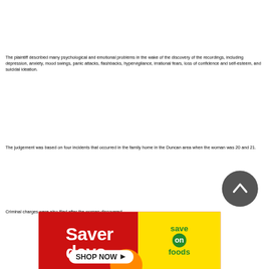The plaintiff described many psychological and emotional problems in the wake of the discovery of the recordings, including depression, anxiety, mood swings, panic attacks, flashbacks, hypervigilance, irrational fears, loss of confidence and self-esteem, and suicidal ideation.
The judgement was based on four incidents that occurred in the family home in the Duncan area when the woman was 20 and 21.
Criminal charges were also filed after the woman discovered
[Figure (illustration): Save on Foods advertisement banner — 'Saver days SHOP NOW' on red and yellow background with Save On Foods logo]